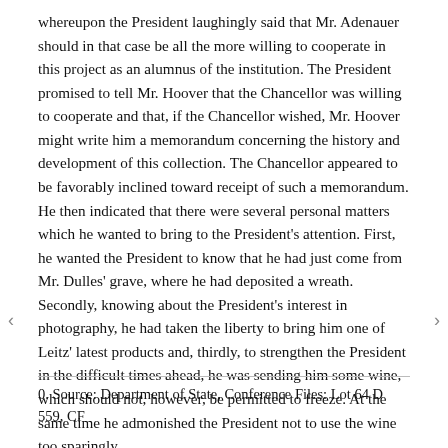whereupon the President laughingly said that Mr. Adenauer should in that case be all the more willing to cooperate in this project as an alumnus of the institution. The President promised to tell Mr. Hoover that the Chancellor was willing to cooperate and that, if the Chancellor wished, Mr. Hoover might write him a memorandum concerning the history and development of this collection. The Chancellor appeared to be favorably inclined toward receipt of such a memorandum. He then indicated that there were several personal matters which he wanted to bring to the President's attention. First, he wanted the President to know that he had just come from Mr. Dulles' grave, where he had deposited a wreath. Secondly, knowing about the President's interest in photography, he had taken the liberty to bring him one of Leitz' latest products and, thirdly, to strengthen the President in the difficult times ahead, he was sending him some wine, which should not, however, be permitted to freeze. At the same time he admonished the President not to use the wine too sparingly.
0. Source: Department of State, Conference Files: Lot 64 D 559, CF